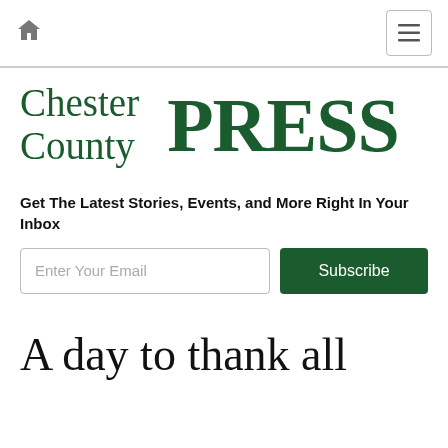Chester County PRESS — navigation bar with home icon and menu button
[Figure (logo): Chester County PRESS newspaper logo in dark green serif font]
Get The Latest Stories, Events, and More Right In Your Inbox
A day to thank all